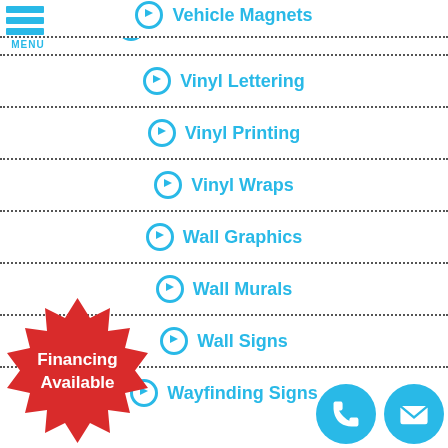[Figure (logo): Hamburger menu icon with three blue horizontal bars and MENU label]
Vehicle Window Film
Vinyl Lettering
Vinyl Printing
Vinyl Wraps
Wall Graphics
Wall Murals
Wall Signs
Wayfinding Signs
[Figure (illustration): Red starburst badge with white bold text 'Financing Available']
[Figure (illustration): Two circular blue icons: phone handset and envelope, for contact]